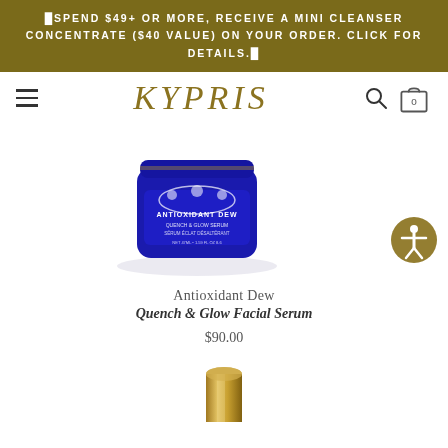SPEND $49+ OR MORE, RECEIVE A MINI CLEANSER CONCENTRATE ($40 VALUE) ON YOUR ORDER. CLICK FOR DETAILS.
[Figure (screenshot): KYPRIS brand navbar with hamburger menu, KYPRIS logo in gold italic, search icon, and cart icon with 0 items]
[Figure (photo): KYPRIS Antioxidant Dew blue jar product photo — cobalt blue glass jar with gold/white floral label reading 'ANTIOXIDANT DEW QUENCH & GLOW SERUM SÉRUM ÉCLAT DÉSALTÉRANT NET 47ML • 1.59 FL OZ 8.6']
Antioxidant Dew
Quench & Glow Facial Serum
$90.00
[Figure (photo): Gold cylindrical product partially visible at bottom of page]